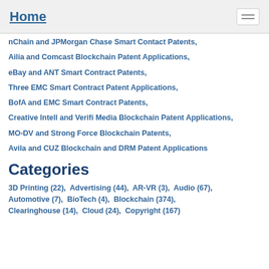Home
nChain and JPMorgan Chase Smart Contact Patents,
Ailia and Comcast Blockchain Patent Applications,
eBay and ANT Smart Contract Patents,
Three EMC Smart Contract Patent Applications,
BofA and EMC Smart Contract Patents,
Creative Intell and Verifi Media Blockchain Patent Applications,
MO-DV and Strong Force Blockchain Patents,
Avila and CUZ Blockchain and DRM Patent Applications
Categories
3D Printing (22),  Advertising (44),  AR-VR (3),  Audio (67),  Automotive (7),  BioTech (4),  Blockchain (374),  Clearinghouse (14),  Cloud (24),  Copyright (167)